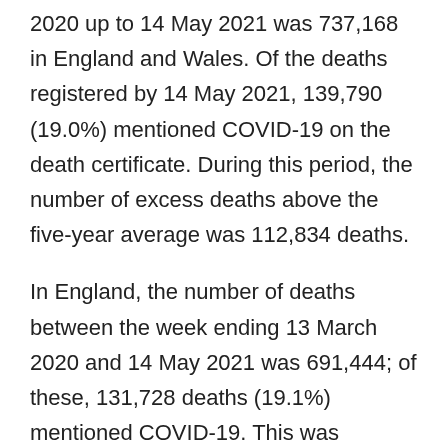2020 up to 14 May 2021 was 737,168 in England and Wales. Of the deaths registered by 14 May 2021, 139,790 (19.0%) mentioned COVID-19 on the death certificate. During this period, the number of excess deaths above the five-year average was 112,834 deaths.
In England, the number of deaths between the week ending 13 March 2020 and 14 May 2021 was 691,444; of these, 131,728 deaths (19.1%) mentioned COVID-19. This was 108,244 deaths above the five-year average.
In Wales, the number of deaths for the same period was 44,826; of these, 7,878 deaths (17.6%) mentioned COVID-19. This was 5,529 deaths above the five-year